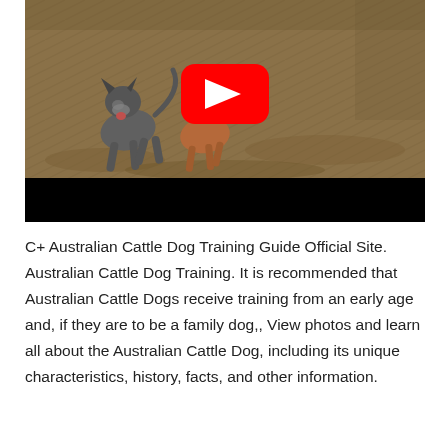[Figure (screenshot): A YouTube video thumbnail showing two Australian Cattle Dogs running in a dirt field, with a red YouTube play button overlay in the center. The bottom of the video frame is a black bar.]
C+ Australian Cattle Dog Training Guide Official Site. Australian Cattle Dog Training. It is recommended that Australian Cattle Dogs receive training from an early age and, if they are to be a family dog,, View photos and learn all about the Australian Cattle Dog, including its unique characteristics, history, facts, and other information.